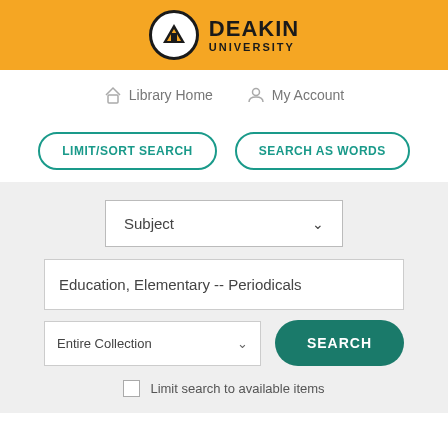[Figure (logo): Deakin University logo with orange header bar, circular shield icon, and text DEAKIN UNIVERSITY]
Library Home   My Account
LIMIT/SORT SEARCH   SEARCH AS WORDS
Subject
Education, Elementary -- Periodicals
Entire Collection
SEARCH
Limit search to available items